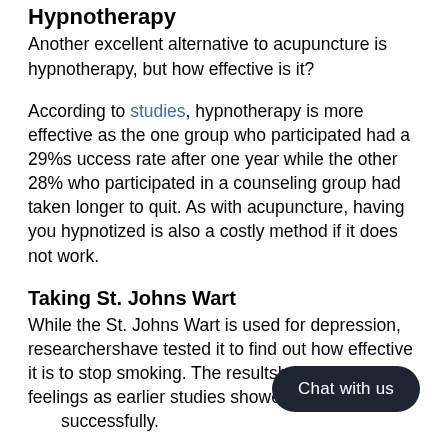Hypnotherapy
Another excellent alternative to acupuncture is hypnotherapy, but how effective is it?
According to studies, hypnotherapy is more effective as the one group who participated had a 29%s uccess rate after one year while the other 28% who participated in a counseling group had taken longer to quit. As with acupuncture, having you hypnotized is also a costly method if it does not work.
Taking St. Johns Wart
While the St. Johns Wart is used for depression, researchershave tested it to find out how effective it is to stop smoking. The resultshave mixed feelings as earlier studies showed that a couple quit successfully.